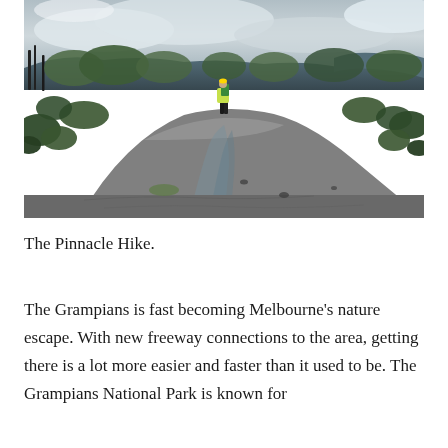[Figure (photo): Aerial-style landscape photo of a hiker with a bright yellow-green jacket walking along a flat rocky terrain (granite slabs) in The Grampians, surrounded by Australian scrub and eucalyptus trees, with hills and cloudy sky in the background.]
The Pinnacle Hike.
The Grampians is fast becoming Melbourne's nature escape. With new freeway connections to the area, getting there is a lot more easier and faster than it used to be. The Grampians National Park is known for its outstanding scenery, with the best available for...